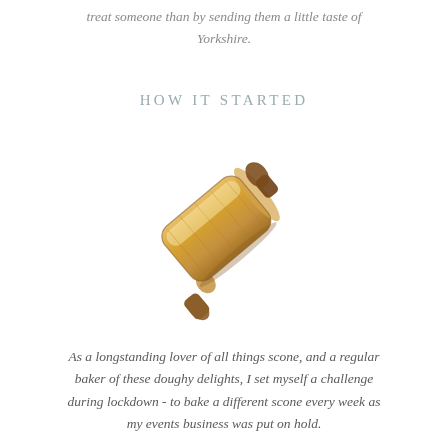treat someone than by sending them a little taste of Yorkshire.
HOW IT STARTED
[Figure (illustration): A watercolor-style illustration of a wooden rolling pin oriented diagonally, with warm golden-brown tones and wooden handles.]
As a longstanding lover of all things scone, and a regular baker of these doughy delights, I set myself a challenge during lockdown - to bake a different scone every week as my events business was put on hold.